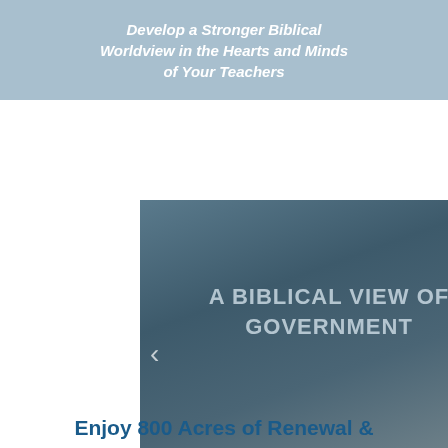Develop a Stronger Biblical Worldview in the Hearts and Minds of Your Teachers
[Figure (screenshot): Website slideshow panel showing the text 'A BIBLICAL VIEW OF GOVERNMENT' over a dark blue-grey background, with left and right navigation arrows, a scroll-to-top button, and nine dot indicators at the bottom.]
Enjoy 800 Acres of Renewal &